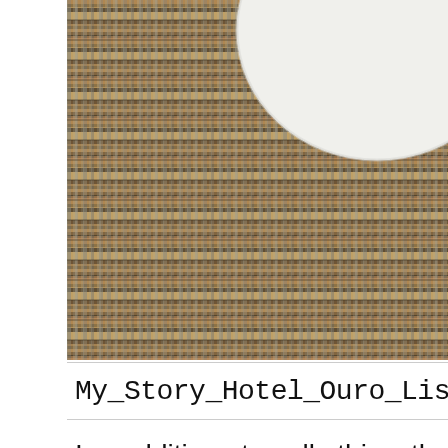[Figure (photo): Close-up photograph of a woven wicker/rattan surface in dark brown and grey tones, with the edge of a white round plate visible in the upper right area.]
My_Story_Hotel_Ouro_Lisbon_Portu
In addition to all this, the staff of the hotel were very accommodating and friendly. They were always ready to help and gave me good insights on places to see, how to